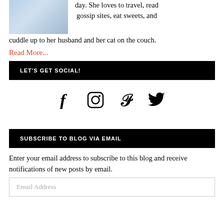[Figure (photo): Partial photo of a person in blue and white clothing, top-left corner]
day. She loves to travel, read gossip sites, eat sweets, and cuddle up to her husband and her cat on the couch.
Read More...
LET'S GET SOCIAL!
[Figure (infographic): Social media icons: Facebook, Instagram, Pinterest, Twitter]
SUBSCRIBE TO BLOG VIA EMAIL
Enter your email address to subscribe to this blog and receive notifications of new posts by email.
Email Address